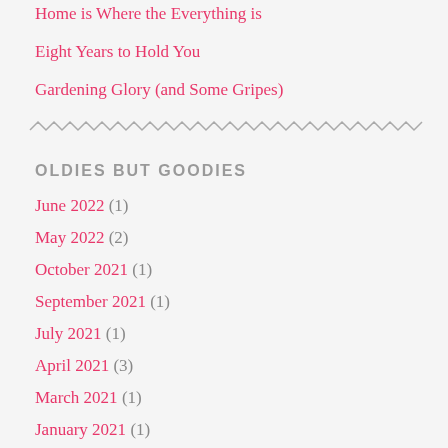Home is Where the Everything is
Eight Years to Hold You
Gardening Glory (and Some Gripes)
OLDIES BUT GOODIES
June 2022 (1)
May 2022 (2)
October 2021 (1)
September 2021 (1)
July 2021 (1)
April 2021 (3)
March 2021 (1)
January 2021 (1)